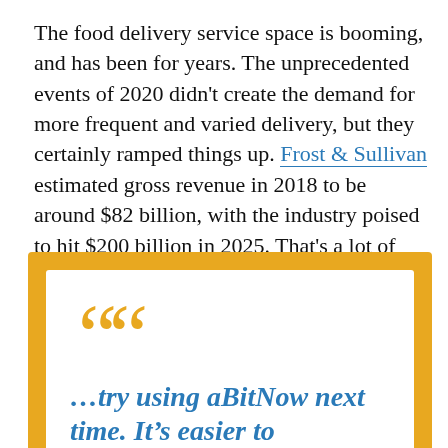The food delivery service space is booming, and has been for years. The unprecedented events of 2020 didn't create the demand for more frequent and varied delivery, but they certainly ramped things up. Frost & Sullivan estimated gross revenue in 2018 to be around $82 billion, with the industry poised to hit $200 billion in 2025. That's a lot of lasagna!
[Figure (other): Pull quote box with golden yellow outer border and white inner box. Large golden quotation marks at top, followed by italic bold blue text: '...try using aBitNow next time. It's easier to' (continues off page)]